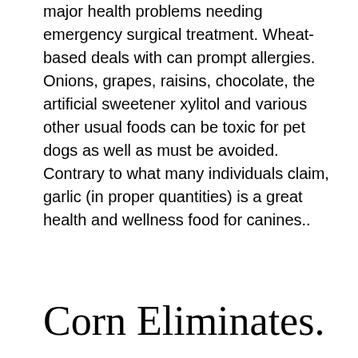major health problems needing emergency surgical treatment. Wheat-based deals with can prompt allergies. Onions, grapes, raisins, chocolate, the artificial sweetener xylitol and various other usual foods can be toxic for pet dogs as well as must be avoided.
Contrary to what many individuals claim, garlic (in proper quantities) is a great health and wellness food for canines..
Corn Eliminates.